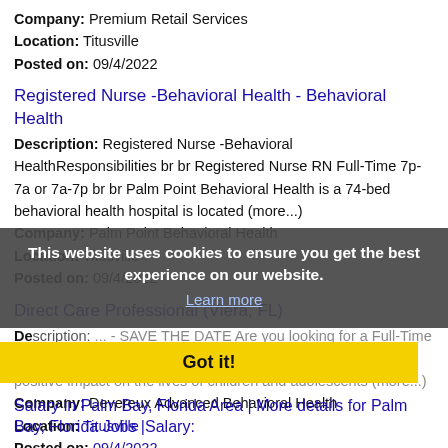Company: Premium Retail Services
Location: Titusville
Posted on: 09/4/2022
Registered Nurse -Behavioral Health - Behavioral Health
Description: Registered Nurse -Behavioral HealthResponsibilities br br Registered Nurse RN Full-Time 7p-7a or 7a-7p br br Palm Point Behavioral Health is a 74-bed behavioral health hospital is located (more...)
Company: Palm Point Behavioral Health
Location: Titusville
Posted on: 09/4/2022
Direct Care Professional (Viera, FL)
Description: ... - SAVE THE DATE Are you looking for a Full-Time or Part-Time -employment opportunity Do you want to make a positive impact on the lives of children and adolescents (more...)
Company: Devereux Advanced Behavioral Health
Location: Titusville
Posted on: 09/4/2022
This website uses cookies to ensure you get the best experience on our website.
Learn more
Got it!
Salary in Palm Bay, Florida Area | More details for Palm Bay, Florida Jobs |Salary: